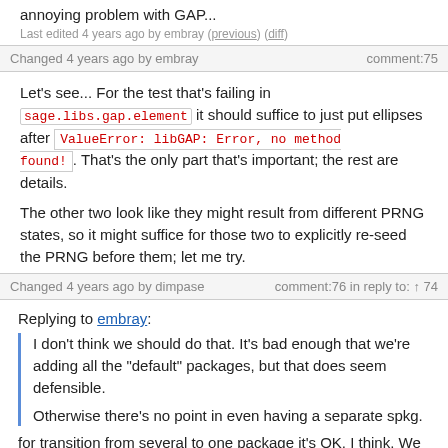annoying problem with GAP...
Last edited 4 years ago by embray (previous) (diff)
Changed 4 years ago by embray    comment:75
Let's see... For the test that's failing in sage.libs.gap.element it should suffice to just put ellipses after ValueError: libGAP: Error, no method found!. That's the only part that's important; the rest are details.
The other two look like they might result from different PRNG states, so it might suffice for those two to explicitly re-seed the PRNG before them; let me try.
Changed 4 years ago by dimpase    comment:76 in reply to: ↑ 74
Replying to embray:
I don't think we should do that. It's bad enough that we're adding all the "default" packages, but that does seem defensible.
Otherwise there's no point in even having a separate spkg.
for transition from several to one package it's OK, I think. We can merge them later on another ticket.
Meanwhile, I don't like that merely having some random package installed can cause actually different (even if not substantively) results, in ways that are very difficult to trace. This is a really annoying problem with GAP.